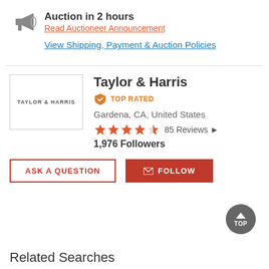Auction in 2 hours
Read Auctioneer Announcement
View Shipping, Payment & Auction Policies
[Figure (logo): Taylor & Harris company logo box with text TAYLOR & HARRIS]
Taylor & Harris
TOP RATED
Gardena, CA, United States
85 Reviews
1,976 Followers
ASK A QUESTION
FOLLOW
Related Searches